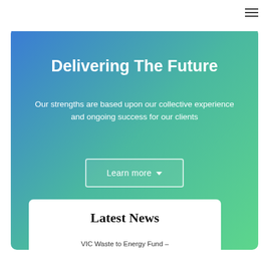☰ (hamburger menu icon)
Delivering The Future
Our strengths are based upon our collective experience and ongoing success for our clients
Learn more ▾
Latest News
VIC Waste to Energy Fund –